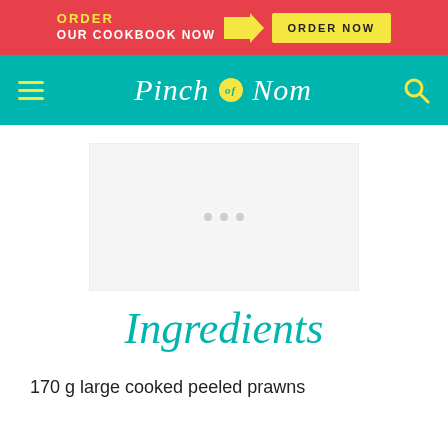ORDER OUR COOKBOOK NOW → ORDER NOW
[Figure (logo): Pinch of Nom website navigation bar with teal background, yellow hamburger menu icon, Pinch of Nom cursive logo with yellow circle, and yellow search icon]
[Figure (other): Advertisement placeholder area with light grey background and three grey dots]
Ingredients
170 g large cooked peeled prawns